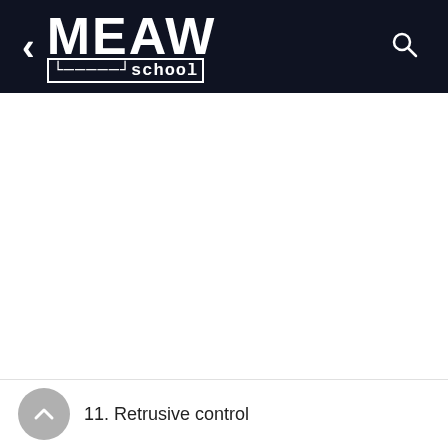[Figure (logo): MEAW school logo with back arrow and search icon on dark navy header bar]
11. Retrusive control